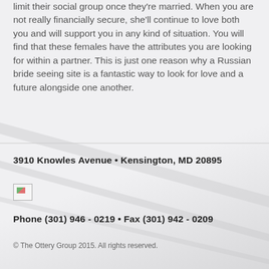limit their social group once they're married. When you are not really financially secure, she'll continue to love both you and will support you in any kind of situation. You will find that these females have the attributes you are looking for within a partner. This is just one reason why a Russian bride seeing site is a fantastic way to look for love and a future alongside one another.
3910 Knowles Avenue • Kensington, MD 20895
[Figure (photo): Small broken/placeholder image icon]
Phone (301) 946 - 0219 • Fax (301) 942 - 0209
© The Ottery Group 2015. All rights reserved.